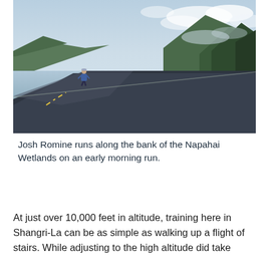[Figure (photo): A runner on a wide road alongside a glassy reflective lake with mountains and clouds in the background. The scene is at dawn or early morning with blue tones.]
Josh Romine runs along the bank of the Napahai Wetlands on an early morning run.
At just over 10,000 feet in altitude, training here in Shangri-La can be as simple as walking up a flight of stairs. While adjusting to the high altitude did take